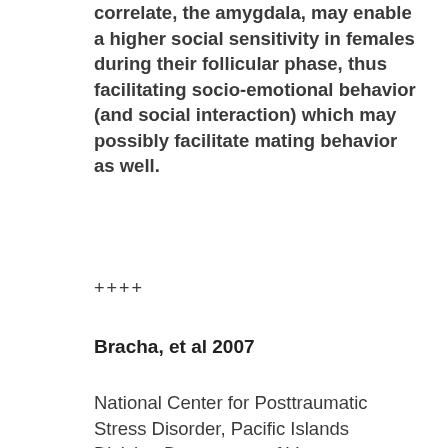correlate, the amygdala, may enable a higher social sensitivity in females during their follicular phase, thus facilitating socio-emotional behavior (and social interaction) which may possibly facilitate mating behavior as well.
++++
Bracha, et al 2007
National Center for Posttraumatic Stress Disorder, Pacific Islands Division Department of Veterans Affairs, Pacific Islands Health Care System, Honolulu, HI
Research agenda for 5th edition of DSM-3, emphasizing "…need for more etiologically-based classification system, especially for stress-induced